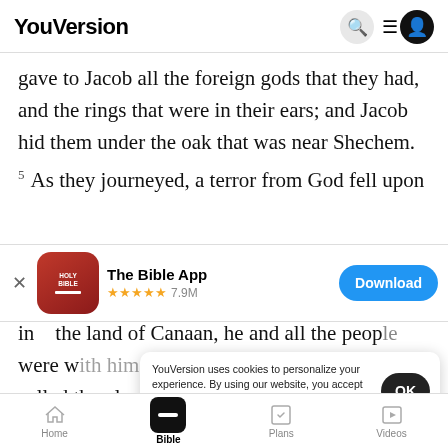YouVersion
gave to Jacob all the foreign gods that they had, and the rings that were in their ears; and Jacob hid them under the oak that was near Shechem.
5 As they journeyed, a terror from God fell upon
[Figure (screenshot): The Bible App download banner with HOLY BIBLE app icon, 5-star rating 7.9M, and Download button]
in the land of Canaan, he and all the people who were with him. called the place El-bethel. because it was there
YouVersion uses cookies to personalize your experience. By using our website, you accept our use of cookies as described in our Privacy Policy.
Home  Bible  Plans  Videos